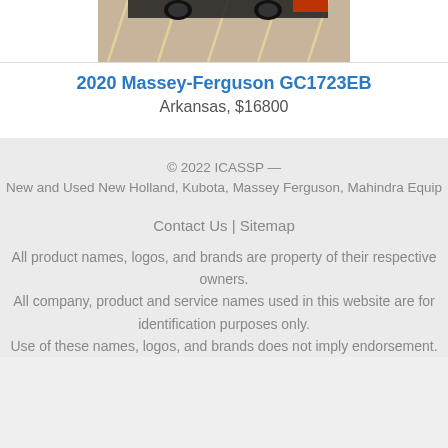[Figure (photo): Partial view of a tractor/equipment in a parking lot, showing the rear/undercarriage area with orange/yellow parking lines on concrete]
2020 Massey-Ferguson GC1723EB
Arkansas, $16800
© 2022 ICASSP — New and Used New Holland, Kubota, Massey Ferguson, Mahindra Equip
Contact Us | Sitemap
All product names, logos, and brands are property of their respective owners. All company, product and service names used in this website are for identification purposes only. Use of these names, logos, and brands does not imply endorsement.